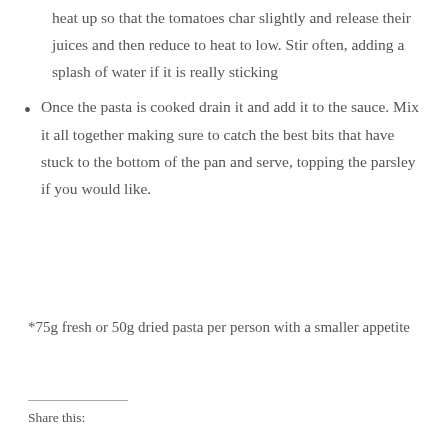heat up so that the tomatoes char slightly and release their juices and then reduce to heat to low. Stir often, adding a splash of water if it is really sticking
Once the pasta is cooked drain it and add it to the sauce. Mix it all together making sure to catch the best bits that have stuck to the bottom of the pan and serve, topping the parsley if you would like.
*75g fresh or 50g dried pasta per person with a smaller appetite
Share this: